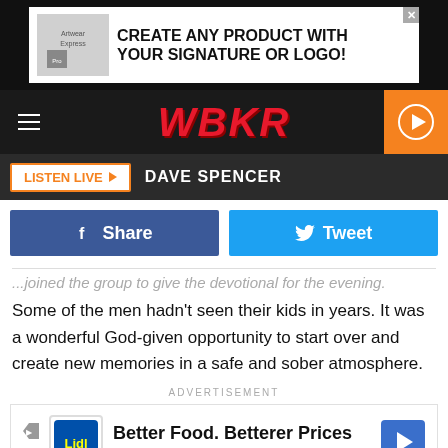[Figure (screenshot): Top banner advertisement for Artwear-Express: CREATE ANY PRODUCT WITH YOUR SIGNATURE OR LOGO!]
[Figure (logo): WBKR radio station logo in red italic text on dark background with hamburger menu and orange play button]
LISTEN LIVE   DAVE SPENCER
[Figure (screenshot): Facebook Share button and Twitter Tweet button]
...joined the group to give the devotional for the evening.  Some of the men hadn't seen their kids in years.  It was a wonderful God-given opportunity to start over and create new memories in a safe and sober atmosphere.
ADVERTISEMENT
[Figure (screenshot): Lidl advertisement: Better Food. Betterer Prices - Lidl]